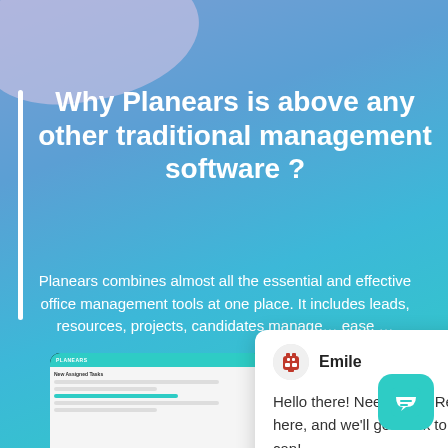Why Planears is above any other traditional management software ?
Planears combines almost all the essential and effective office management tools at one place. It includes leads, resources, projects, candidates manage... ease ...
[Figure (screenshot): Chat popup with robot avatar labeled Emile saying: Hello there! Need help? Reach out to us right here, and we'll get back to you as soon as we can!]
[Figure (screenshot): Screenshot of Planears software interface on tablet/device at the bottom of the page]